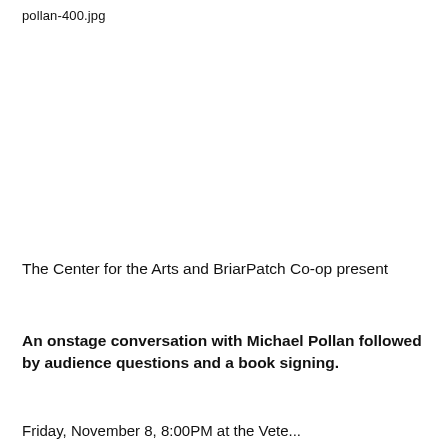pollan-400.jpg
[Figure (photo): Photo placeholder area (white/blank image area for Michael Pollan photo)]
The Center for the Arts and BriarPatch Co-op present
An onstage conversation with Michael Pollan followed by audience questions and a book signing.
Friday, November 8, 8:00PM at the Veteran...